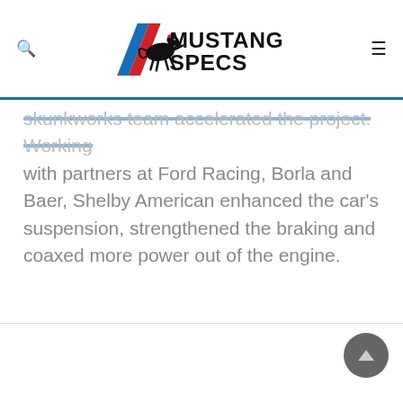[Figure (logo): Mustang Specs logo with running horse and diagonal stripes in red and blue]
skunkworks team accelerated the project. Working with partners at Ford Racing, Borla and Baer, Shelby American enhanced the car's suspension, strengthened the braking and coaxed more power out of the engine.